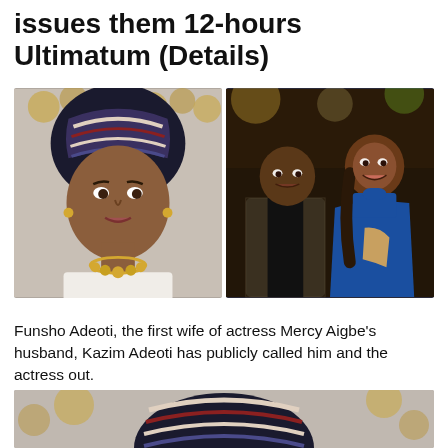issues them 12-hours Ultimatum (Details)
[Figure (photo): Left: portrait of Funsho Adeoti wearing a striped head wrap and gold necklace in a white lace outfit. Right: Kazim Adeoti in a patterned blazer seated next to Mercy Aigbe in a blue outfit at an event.]
Funsho Adeoti, the first wife of actress Mercy Aigbe's husband, Kazim Adeoti has publicly called him and the actress out.
[Figure (photo): Bottom partial photo showing top of Funsho Adeoti's striped head wrap.]